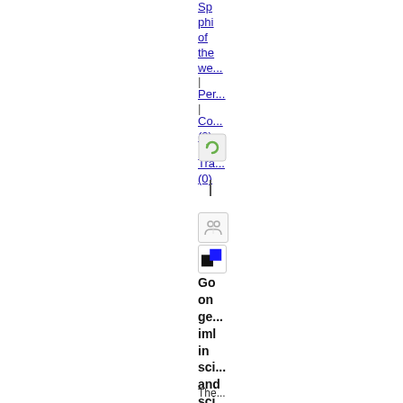Sp... phi... of the we...
Per...
Co... (2)
Tra... (0)
[Figure (screenshot): Refresh/reload button icon]
[Figure (screenshot): Text cursor or vertical bar indicator]
[Figure (screenshot): People/group icon]
[Figure (screenshot): Color/theme icon with black and blue squares]
Go on ge... iml in sci and sci me...
The...